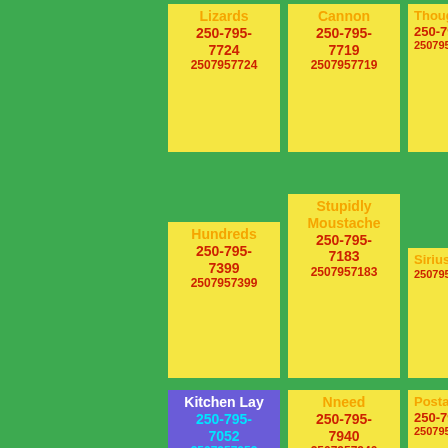Lizards 250-795-7724 2507957724
Cannon 250-795-7719 2507957719
Though 250-795-7715 2507957715
Hundreds 250-795-7399 2507957399
Stupidly Moustache 250-795-7183 2507957183
Sirius 250-795-7155 2507957155
Kitchen Lay 250-795-7052 2507957052
Nneed 250-795-7940 2507957940
Postage 250-795-7323 2507957323
Sell Wonder 250-795-7647
Run 250-795-7792
Behave Quite Cupboard 250-795-7049